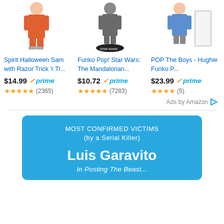[Figure (screenshot): Amazon product ad for Spirit Halloween Sam with Razor Trick 'r Tr... figurine]
[Figure (screenshot): Amazon product ad for Funko Pop! Star Wars: The Mandalorian... figurine]
[Figure (screenshot): Amazon product ad for POP The Boys - Hughie Funko P... figurine]
Ads by Amazon
MOST CONFIRMED VICTIMS (by a Serial Killer)
Luis Garavito
In Posting The Beast...